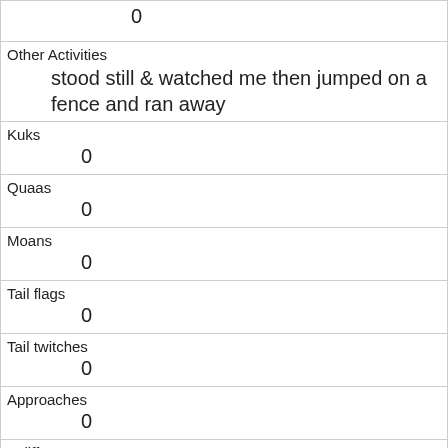| 0 |
| Other Activities | stood still & watched me then jumped on a fence and ran away |
| Kuks | 0 |
| Quaas | 0 |
| Moans | 0 |
| Tail flags | 0 |
| Tail twitches | 0 |
| Approaches | 0 |
| Indifferent | 1 |
| Runs from | 1 |